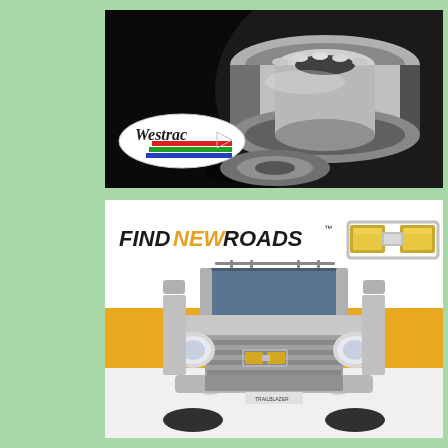[Figure (photo): Close-up photo of a steel bearing/roller bearing on a dark background, with the Westrac company logo overlaid at the bottom left in an oval shape with red, green, and blue stripes.]
[Figure (photo): Chevrolet advertisement showing a silver Trailblazer SUV front-on view against a yellow/gold and white background, with the Chevrolet bowtie logo at the top right and the slogan 'FIND NEW ROADS' in black and orange italic text at top left.]